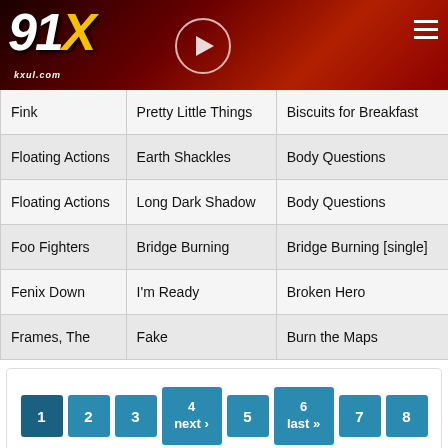[Figure (screenshot): 91X radio station header with logo (91X, kxul.com), play button circle, fire/flame background, and hamburger menu icon]
| Artist | Song | Album |
| --- | --- | --- |
| Fink | Pretty Little Things | Biscuits for Breakfast |
| Floating Actions | Earth Shackles | Body Questions |
| Floating Actions | Long Dark Shadow | Body Questions |
| Foo Fighters | Bridge Burning | Bridge Burning [single] |
| Fenix Down | I'm Ready | Broken Hero |
| Frames, The | Fake | Burn the Maps |
Pagination: 1 2 3 4 next › 5 6 last » 7 8 9